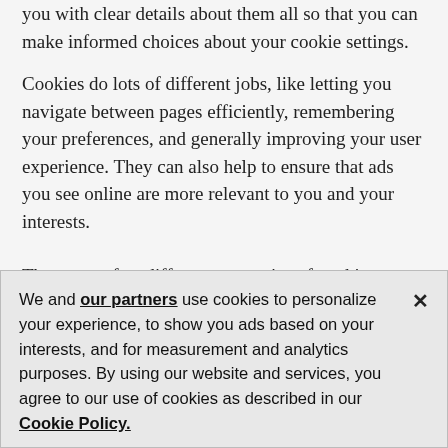you with clear details about them all so that you can make informed choices about your cookie settings.
Cookies do lots of different jobs, like letting you navigate between pages efficiently, remembering your preferences, and generally improving your user experience. They can also help to ensure that ads you see online are more relevant to you and your interests.
There are a few different categories of cookies, including:
Session and Persistent Cookies
Session Cookies – these are cookies which expire...
We and our partners use cookies to personalize your experience, to show you ads based on your interests, and for measurement and analytics purposes. By using our website and services, you agree to our use of cookies as described in our Cookie Policy.